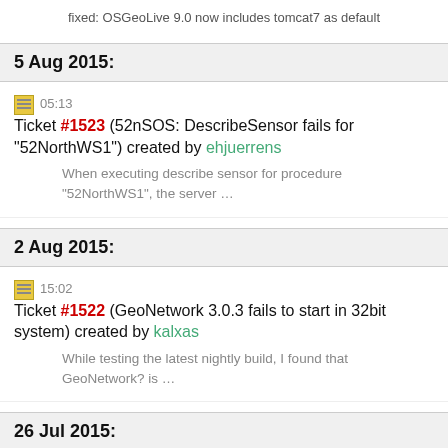fixed: OSGeoLive 9.0 now includes tomcat7 as default
5 Aug 2015:
05:13 Ticket #1523 (52nSOS: DescribeSensor fails for "52NorthWS1") created by ehjuerrens
When executing describe sensor for procedure "52NorthWS1", the server ...
2 Aug 2015:
15:02 Ticket #1522 (GeoNetwork 3.0.3 fails to start in 32bit system) created by kalxas
While testing the latest nightly build, I found that GeoNetwork? is ...
26 Jul 2015: